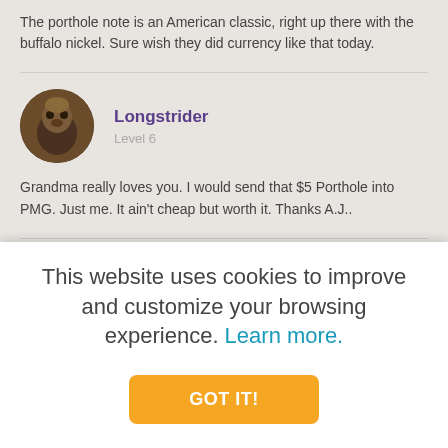The porthole note is an American classic, right up there with the buffalo nickel. Sure wish they did currency like that today.
Longstrider
Level 6
Grandma really loves you. I would send that $5 Porthole into PMG. Just me. It ain't cheap but worth it. Thanks A.J..
It's Mokie
Level 6
This website uses cookies to improve and customize your browsing experience. Learn more.
GOT IT!